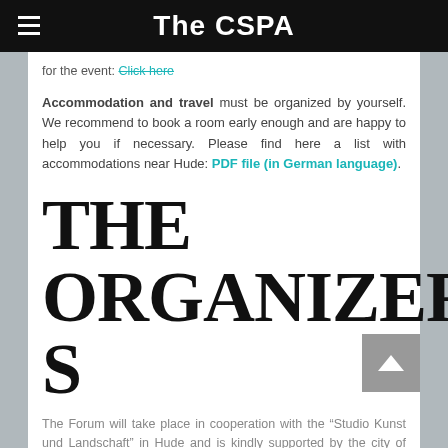The CSPA
for the event: Click here
Accommodation and travel must be organized by yourself. We recommend to book a room early enough and are happy to help you if necessary. Please find here a list with accommodations near Hude: PDF file (in German language).
THE ORGANIZERS
The Forum will take place in cooperation with the “Studio Kunst und Landschaft” in Hude and is kindly supported by the city of Oldenburg.